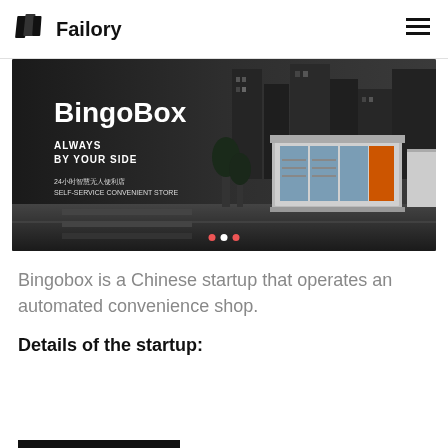Failory
[Figure (photo): BingoBox banner image showing a dark cityscape background with a self-service convenience store kiosk. White bold text reads 'BingoBox' with tagline 'ALWAYS BY YOUR SIDE' and Chinese text '24小时智慧无人便利店 SELF-SERVICE CONVENIENT STORE'. Three carousel dots at the bottom.]
Bingobox is a Chinese startup that operates an automated convenience shop.
Details of the startup: